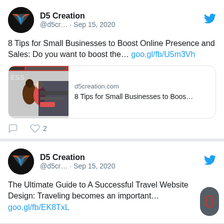[Figure (screenshot): Tweet from D5 Creation account. Profile avatar with D5 logo (black circle with orange/blue geometric shape). Display name: D5 Creation, handle: @d5cr..., date: Sep 15, 2020. Tweet text: '8 Tips for Small Businesses to Boost Online Presence and Sales: Do you want to boost the... goo.gl/fb/U5m3Vh'. Link preview showing d5creation.com with image of fitness people and title '8 Tips for Small Businesses to Boos...'. Actions: comment icon, heart icon with count 2.]
[Figure (screenshot): Second tweet from D5 Creation account. Same profile avatar. Handle: @d5cr..., date: Sep 15, 2020. Tweet text: 'The Ultimate Guide to A Successful Travel Website Design: Traveling becomes an important... goo.gl/fb/EK8TxL'. Rounded scroll button visible bottom-right.]